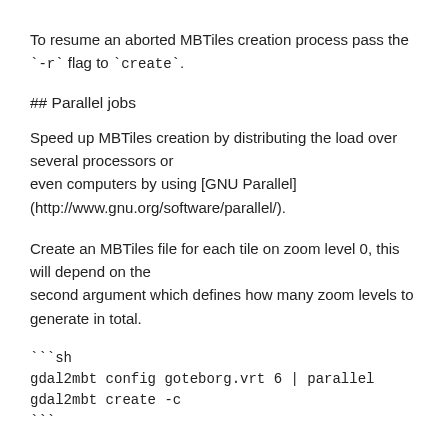To resume an aborted MBTiles creation process pass the `-r` flag to `create`.
## Parallel jobs
Speed up MBTiles creation by distributing the load over several processors or even computers by using [GNU Parallel] (http://www.gnu.org/software/parallel/).
Create an MBTiles file for each tile on zoom level 0, this will depend on the second argument which defines how many zoom levels to generate in total.
```sh
gdal2mbt config goteborg.vrt 6 | parallel gdal2mbt create -c
```